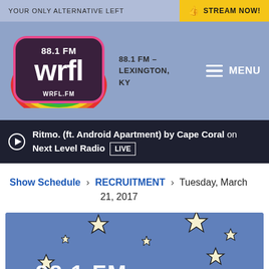YOUR ONLY ALTERNATIVE LEFT
STREAM NOW!
[Figure (logo): WRFL 88.1 FM logo with rainbow and pink bubble letters, WRFL.FM]
88.1 FM – LEXINGTON, KY
MENU
Ritmo. (ft. Android Apartment) by Cape Coral on Next Level Radio LIVE
Show Schedule > RECRUITMENT > Tuesday, March 21, 2017
[Figure (illustration): Blue background illustration with cartoon stars and WRFL 88.1 FM text at the bottom]